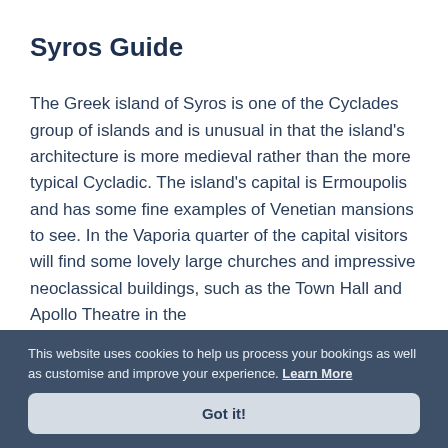Syros Guide
The Greek island of Syros is one of the Cyclades group of islands and is unusual in that the island's architecture is more medieval rather than the more typical Cycladic. The island's capital is Ermoupolis and has some fine examples of Venetian mansions to see. In the Vaporia quarter of the capital visitors will find some lovely large churches and impressive neoclassical buildings, such as the Town Hall and Apollo Theatre in the
This website uses cookies to help us process your bookings as well as customise and improve your experience. Learn More
Got it!